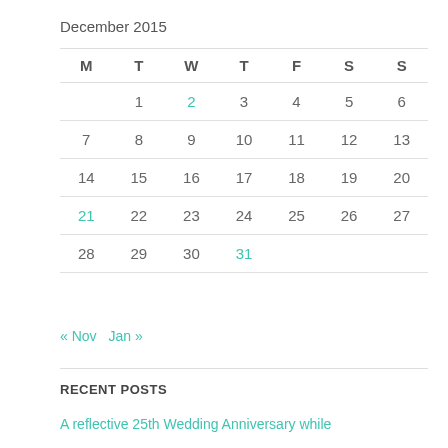December 2015
| M | T | W | T | F | S | S |
| --- | --- | --- | --- | --- | --- | --- |
|  | 1 | 2 | 3 | 4 | 5 | 6 |
| 7 | 8 | 9 | 10 | 11 | 12 | 13 |
| 14 | 15 | 16 | 17 | 18 | 19 | 20 |
| 21 | 22 | 23 | 24 | 25 | 26 | 27 |
| 28 | 29 | 30 | 31 |  |  |  |
« Nov   Jan »
RECENT POSTS
A reflective 25th Wedding Anniversary while